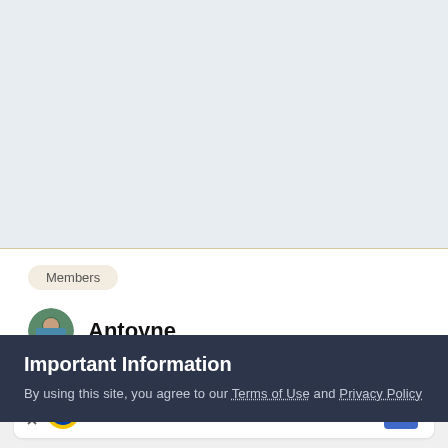[Figure (screenshot): Light blue-gray empty area at top of page, approximately half the page height]
Members
Antoyne
Important Information
By using this site, you agree to our Terms of Use and Privacy Policy
[Figure (screenshot): Advertisement bar at the bottom showing Lidl logo, checkmark, 'In-store shopping' text, and a blue navigation arrow icon]